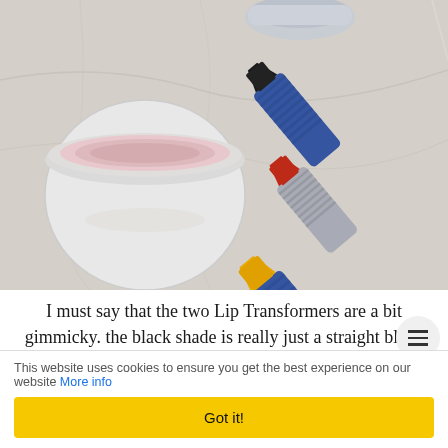[Figure (photo): Overhead photo of beauty products on a marble surface: an open jar of pink cream/balm, and three lipstick tubes with blue metallic ribbed cases — one with a black tip, one with a red tip, and one with a yellow/gold tip. Also visible is a silver cap in the background.]
I must say that the two Lip Transformers are a bit gimmicky. the black shade is really just a straight black lipstick, and wh
This website uses cookies to ensure you get the best experience on our website More info
Got it!